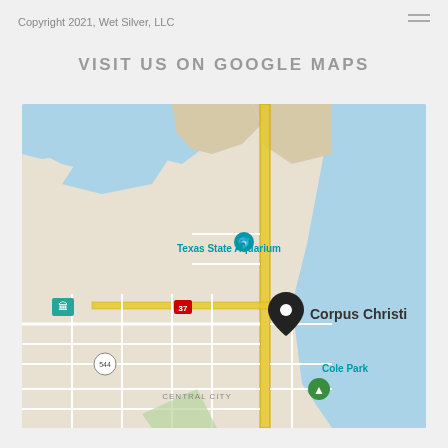Copyright 2021, Wet Silver, LLC
VISIT US ON GOOGLE MAPS
[Figure (map): Google Maps showing Corpus Christi, Texas with a location pin placed on the waterfront. Texas State Aquarium is visible to the north with a teal dolphin icon. Route 37 runs through the city. Cole Park is shown to the south with a green tree icon. Central City neighborhood is labeled. The bay/ocean is shown in light blue to the right. Road 544 is visible bottom left.]